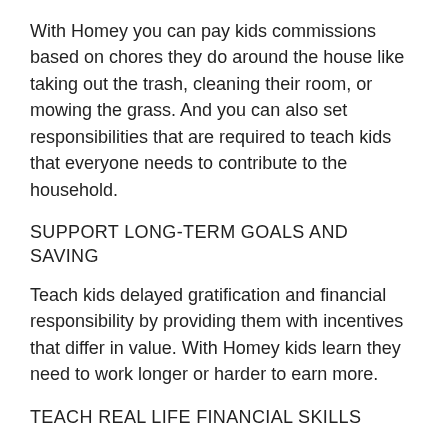With Homey you can pay kids commissions based on chores they do around the house like taking out the trash, cleaning their room, or mowing the grass. And you can also set responsibilities that are required to teach kids that everyone needs to contribute to the household.
SUPPORT LONG-TERM GOALS AND SAVING
Teach kids delayed gratification and financial responsibility by providing them with incentives that differ in value. With Homey kids learn they need to work longer or harder to earn more.
TEACH REAL LIFE FINANCIAL SKILLS
Homey enables you to transfer allowance and money kids earn directly to their savings or checking account or tracks the money as IOU and pay it out in cash. This way you can teach your child how banking works, they can accumulate